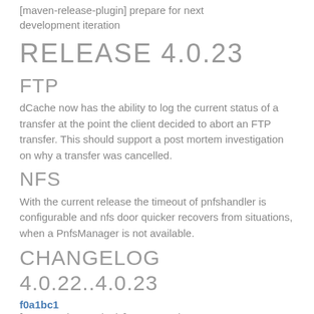[maven-release-plugin] prepare for next development iteration
RELEASE 4.0.23
FTP
dCache now has the ability to log the current status of a transfer at the point the client decided to abort an FTP transfer. This should support a post mortem investigation on why a transfer was cancelled.
NFS
With the current release the timeout of pnfshandler is configurable and nfs door quicker recovers from situations, when a PnfsManager is not available.
CHANGELOG 4.0.22..4.0.23
f0a1bc1
[maven-release-plugin] prepare release 4.0.23
2a6a8af